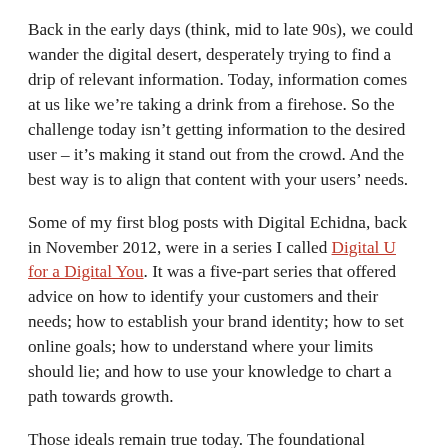Back in the early days (think, mid to late 90s), we could wander the digital desert, desperately trying to find a drip of relevant information. Today, information comes at us like we're taking a drink from a firehose. So the challenge today isn't getting information to the desired user – it's making it stand out from the crowd. And the best way is to align that content with your users' needs.
Some of my first blog posts with Digital Echidna, back in November 2012, were in a series I called Digital U for a Digital You. It was a five-part series that offered advice on how to identify your customers and their needs; how to establish your brand identity; how to set online goals; how to understand where your limits should lie; and how to use your knowledge to chart a path towards growth.
Those ideals remain true today. The foundational elements haven't changed, but the tactics that we use to reach those goals have been refined and adapted. The message is still foundational, but the medium changes – mobile use and smart devices have forced us to rethink how content is